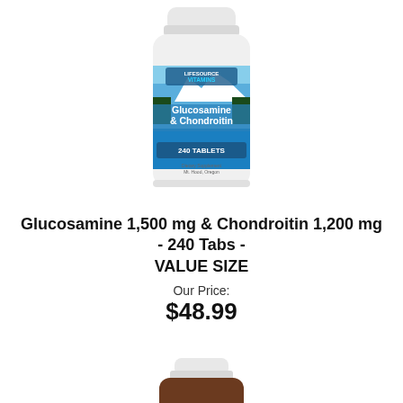[Figure (photo): White supplement bottle with blue label showing mountain lake scene, labeled Glucosamine & Chondroitin 240 Tablets by LifeSource Vitamins]
Glucosamine 1,500 mg & Chondroitin 1,200 mg - 240 Tabs - VALUE SIZE
Our Price:
$48.99
Add To Cart
[Figure (photo): Partial view of a dark brown supplement bottle with white cap and LifeSource Vitamins label at the bottom of the page]